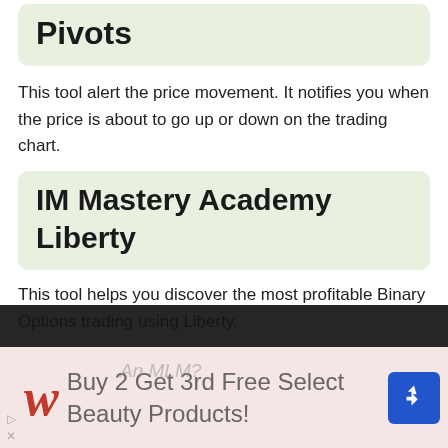Pivots
This tool alert the price movement. It notifies you when the price is about to go up or down on the trading chart.
IM Mastery Academy Liberty
This tool helps you discover the most profitable Binary Options trading using Liberty.
[Figure (other): Advertisement banner: Walgreens logo with text 'Buy 2 Get 3rd Free Select Beauty Products!' and a blue navigation/direction sign icon on the right. Background is pinkish-beige.]